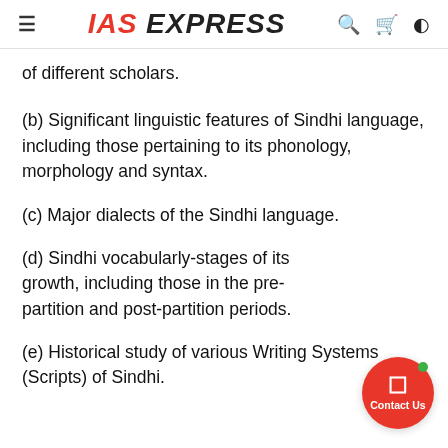IAS EXPRESS
of different scholars.
(b) Significant linguistic features of Sindhi language, including those pertaining to its phonology, morphology and syntax.
(c) Major dialects of the Sindhi language.
(d) Sindhi vocabularly-stages of its growth, including those in the pre-partition and post-partition periods.
(e) Historical study of various Writing Systems (Scripts) of Sindhi.